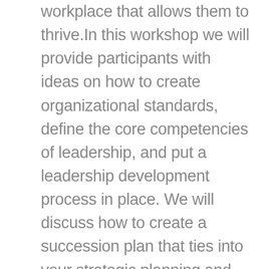workplace that allows them to thrive.In this workshop we will provide participants with ideas on how to create organizational standards, define the core competencies of leadership, and put a leadership development process in place. We will discuss how to create a succession plan that ties into your strategic planning and action planning process. We will talk about the role of the individual who is likely to grow into a critical role at your organization and we'll discuss the role of supervisors and the board in the process. We will share some examples of best practices for small and large organizations that will help to illustrate how you can take concrete steps to create a more sustainable future for your land trust, with leaders who are in it for the